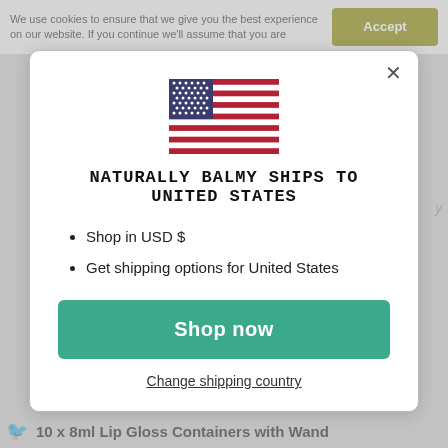We use cookies to ensure that we give you the best experience on our website. If you continue we'll assume that you are
Accept
[Figure (illustration): US flag SVG illustration]
NATURALLY BALMY SHIPS TO UNITED STATES
Shop in USD $
Get shipping options for United States
Shop now
Change shipping country
10 x 8ml Lip Gloss Containers with Wand